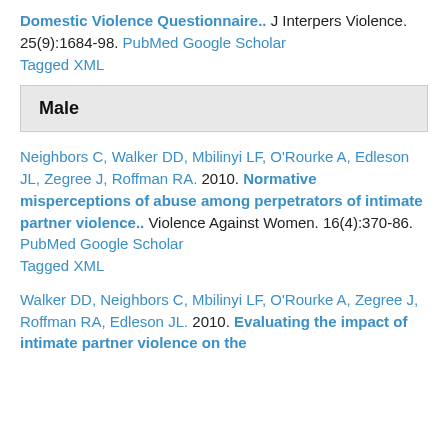Domestic Violence Questionnaire.. J Interpers Violence. 25(9):1684-98. PubMed  Google Scholar  Tagged  XML
Male
Neighbors C, Walker DD, Mbilinyi LF, O'Rourke A, Edleson JL, Zegree J, Roffman RA.  2010.  Normative misperceptions of abuse among perpetrators of intimate partner violence..  Violence Against Women. 16(4):370-86. PubMed  Google Scholar  Tagged  XML
Walker DD, Neighbors C, Mbilinyi LF, O'Rourke A, Zegree J, Roffman RA, Edleson JL.  2010.  Evaluating the impact of intimate partner violence on the